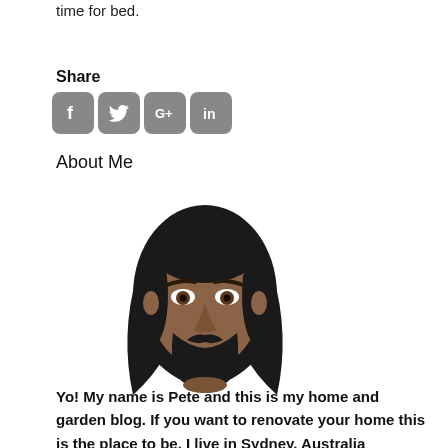time for bed.
Share
[Figure (illustration): Four social media share buttons: Facebook, Twitter, Google+, LinkedIn — rendered as rounded square grey icons with white logos]
About Me
[Figure (illustration): Illustrated avatar of a man with dark long hair, beard, and brown skin tone — cartoon/flat style]
Yo! My name is Pete and this is my home and garden blog. If you want to renovate your home this is the place to be. I live in Sydney, Australia